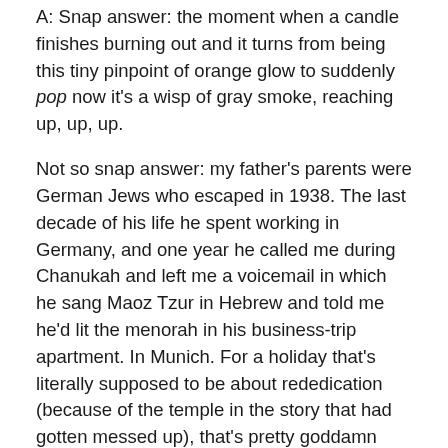A: Snap answer: the moment when a candle finishes burning out and it turns from being this tiny pinpoint of orange glow to suddenly pop now it's a wisp of gray smoke, reaching up, up, up.
Not so snap answer: my father's parents were German Jews who escaped in 1938. The last decade of his life he spent working in Germany, and one year he called me during Chanukah and left me a voicemail in which he sang Maoz Tzur in Hebrew and told me he'd lit the menorah in his business-trip apartment. In Munich. For a holiday that's literally supposed to be about rededication (because of the temple in the story that had gotten messed up), that's pretty goddamn fierce and amazing.
I guess what I'm trying to say is that I appreciate those tiny lights in the dark.